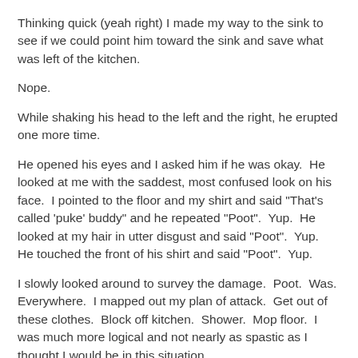Thinking quick (yeah right) I made my way to the sink to see if we could point him toward the sink and save what was left of the kitchen.
Nope.
While shaking his head to the left and the right, he erupted one more time.
He opened his eyes and I asked him if he was okay.  He looked at me with the saddest, most confused look on his face.  I pointed to the floor and my shirt and said "That's called 'puke' buddy" and he repeated "Poot".  Yup.  He looked at my hair in utter disgust and said "Poot".  Yup.  He touched the front of his shirt and said "Poot".  Yup.
I slowly looked around to survey the damage.  Poot.  Was.  Everywhere.  I mapped out my plan of attack.  Get out of these clothes.  Block off kitchen.  Shower.  Mop floor.  I was much more logical and not nearly as spastic as I thought I would be in this situation.